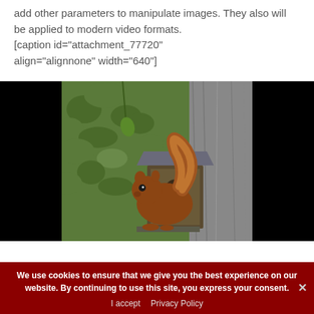add other parameters to manipulate images. They also will be applied to modern video formats. [caption id="attachment_77720" align="alignnone" width="640"]
[Figure (photo): A red squirrel perched on a wooden bird feeder box attached to a tree trunk, with green foliage in the background. The image has black bars on the left and right sides.]
We use cookies to ensure that we give you the best experience on our website. By continuing to use this site, you express your consent. I accept  Privacy Policy